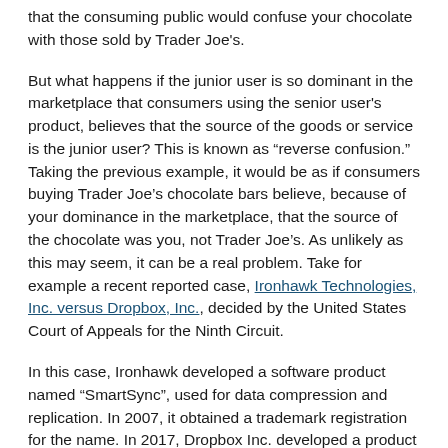that the consuming public would confuse your chocolate with those sold by Trader Joe's.
But what happens if the junior user is so dominant in the marketplace that consumers using the senior user's product, believes that the source of the goods or service is the junior user? This is known as "reverse confusion." Taking the previous example, it would be as if consumers buying Trader Joe's chocolate bars believe, because of your dominance in the marketplace, that the source of the chocolate was you, not Trader Joe's. As unlikely as this may seem, it can be a real problem. Take for example a recent reported case, Ironhawk Technologies, Inc. versus Dropbox, Inc., decided by the United States Court of Appeals for the Ninth Circuit.
In this case, Ironhawk developed a software product named "SmartSync", used for data compression and replication. In 2007, it obtained a trademark registration for the name. In 2017, Dropbox Inc. developed a product called "Smart Sync" that "allows users to see and access files in their Dropbox cloud storage accounts." In this situation, Ironhawk – – whoever heard of them – – was the senior user of the trademark but Dropbox, who is the junior user, was more dominant in the marketplace. Ironhawk sued Dropbox for trademark infringement under a theory of "reverse confusion."